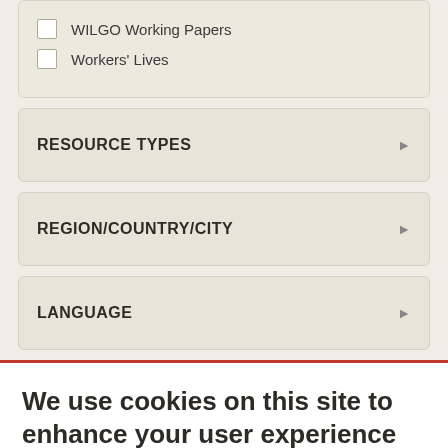WILGO Working Papers
Workers' Lives
RESOURCE TYPES
REGION/COUNTRY/CITY
LANGUAGE
We use cookies on this site to enhance your user experience
By clicking the Accept button, you agree to us doing so.